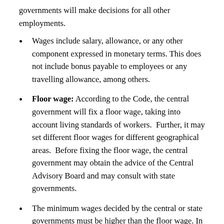governments will make decisions for all other employments.
Wages include salary, allowance, or any other component expressed in monetary terms. This does not include bonus payable to employees or any travelling allowance, among others.
Floor wage: According to the Code, the central government will fix a floor wage, taking into account living standards of workers. Further, it may set different floor wages for different geographical areas. Before fixing the floor wage, the central government may obtain the advice of the Central Advisory Board and may consult with state governments.
The minimum wages decided by the central or state governments must be higher than the floor wage. In case the existing minimum wages fixed by the central or state